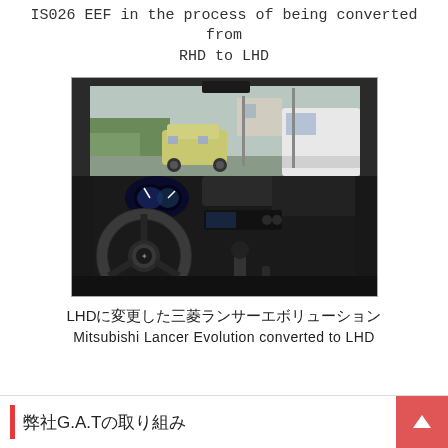IS026 EEF in the process of being converted from RHD to LHD
[Figure (photo): Interior view of a Mitsubishi Lancer Evolution with left-hand drive conversion. The steering wheel is on the left side, showing the dashboard, center console with gear shifter, and through the windscreen a parking lot with vehicles and trees visible.]
LHDに変更した三菱ランサーエボリューション
Mitsubishi Lancer Evolution converted to LHD
弊社G.A.Tの取り組み